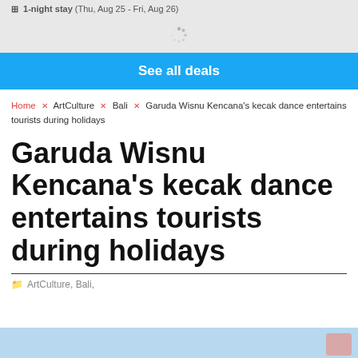1-night stay (Thu, Aug 25 - Fri, Aug 26)
[Figure (other): Loading spinner graphic]
See all deals
Home × ArtCulture × Bali × Garuda Wisnu Kencana's kecak dance entertains tourists during holidays
Garuda Wisnu Kencana's kecak dance entertains tourists during holidays
ArtCulture, Bali,